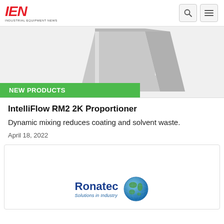IEN INDUSTRIAL EQUIPMENT NEWS
[Figure (photo): Industrial proportioner device – grey metallic unit with angular form, partially cropped. Green 'NEW PRODUCTS' banner overlaid at bottom.]
NEW PRODUCTS
IntelliFlow RM2 2K Proportioner
Dynamic mixing reduces coating and solvent waste.
April 18, 2022
[Figure (logo): Ronatec Solutions in Industry logo with globe graphic]